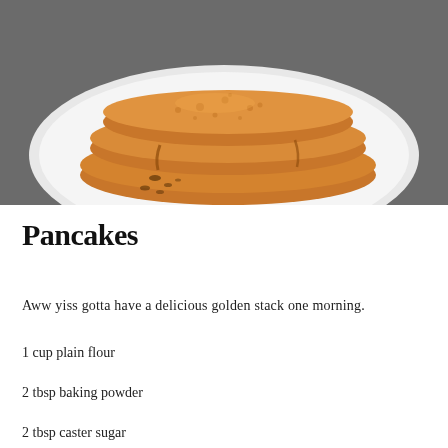[Figure (photo): Stack of golden pancakes on a white plate, viewed from above-front angle, on a dark grey background]
Pancakes
Aww yiss gotta have a delicious golden stack one morning.
1 cup plain flour
2 tbsp baking powder
2 tbsp caster sugar